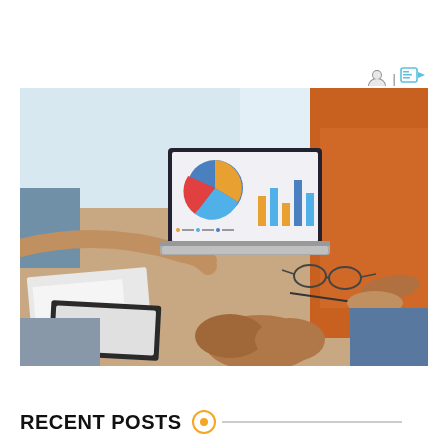[Figure (photo): Business meeting scene with people around a table. A hand points to a laptop screen showing a pie chart and bar chart dashboard. Papers, glasses, and documents on the table. People in casual/business casual attire.]
RECENT POSTS